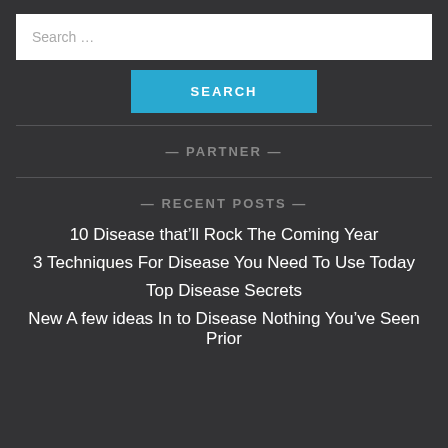Search …
SEARCH
— PARTNER —
— RECENT POSTS —
10 Disease that'll Rock The Coming Year
3 Techniques For Disease You Need To Use Today
Top Disease Secrets
New A few ideas In to Disease Nothing You've Seen Prior